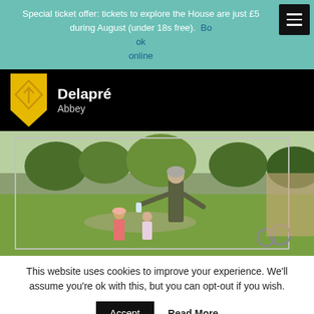Special ticket offer: tickets to explore the House are just £5 during August (under 18s free). Book online
[Figure (logo): Delapré Abbey logo with gold shield and diamond shape, white text on black background]
[Figure (photo): Outdoor photo at Delapré Abbey gardens showing a person in period costume handing something to two young children, with green lawns and hedges in background]
This website uses cookies to improve your experience. We'll assume you're ok with this, but you can opt-out if you wish.
Accept
Read More